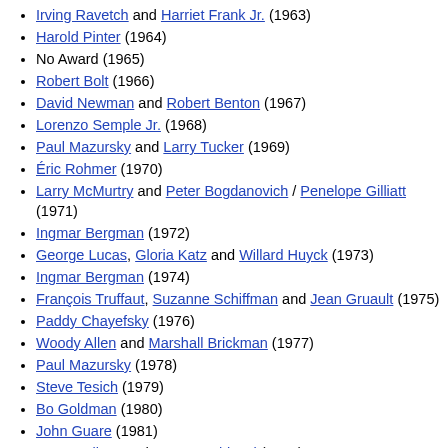Irving Ravetch and Harriet Frank Jr. (1963)
Harold Pinter (1964)
No Award (1965)
Robert Bolt (1966)
David Newman and Robert Benton (1967)
Lorenzo Semple Jr. (1968)
Paul Mazursky and Larry Tucker (1969)
Éric Rohmer (1970)
Larry McMurtry and Peter Bogdanovich / Penelope Gilliatt (1971)
Ingmar Bergman (1972)
George Lucas, Gloria Katz and Willard Huyck (1973)
Ingmar Bergman (1974)
François Truffaut, Suzanne Schiffman and Jean Gruault (1975)
Paddy Chayefsky (1976)
Woody Allen and Marshall Brickman (1977)
Paul Mazursky (1978)
Steve Tesich (1979)
Bo Goldman (1980)
John Guare (1981)
Larry Gelbart and Murray Schisgal (1982)
Bill Forsyth (1983)
Robert Benton (1984)
Woody Allen (1985)